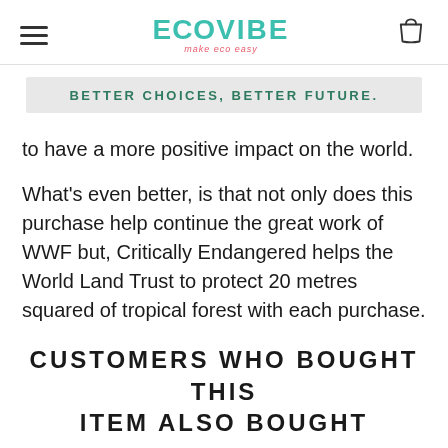EcoVibe — Make Eco Easy
BETTER CHOICES, BETTER FUTURE.
to have a more positive impact on the world.
What's even better, is that not only does this purchase help continue the great work of WWF but, Critically Endangered helps the World Land Trust to protect 20 metres squared of tropical forest with each purchase.
CUSTOMERS WHO BOUGHT THIS ITEM ALSO BOUGHT